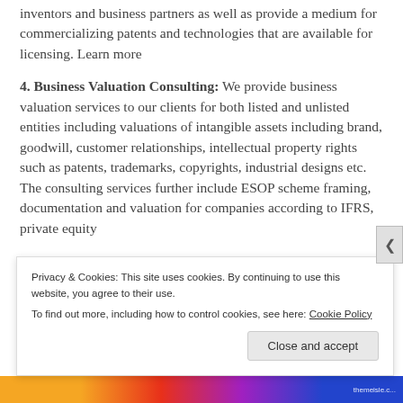inventors and business partners as well as provide a medium for commercializing patents and technologies that are available for licensing. Learn more
4. Business Valuation Consulting: We provide business valuation services to our clients for both listed and unlisted entities including valuations of intangible assets including brand, goodwill, customer relationships, intellectual property rights such as patents, trademarks, copyrights, industrial designs etc. The consulting services further include ESOP scheme framing, documentation and valuation for companies according to IFRS, private equity
Privacy & Cookies: This site uses cookies. By continuing to use this website, you agree to their use. To find out more, including how to control cookies, see here: Cookie Policy